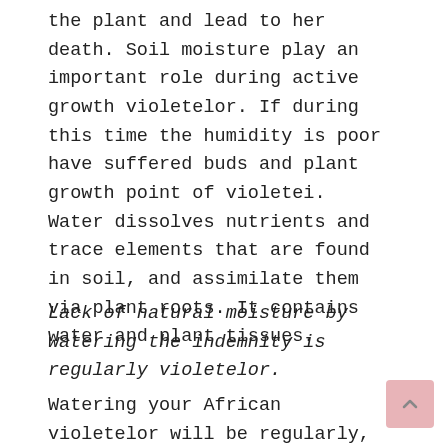the plant and lead to her death. Soil moisture play an important role during active growth violetelor. If during this time the humidity is poor have suffered buds and plant growth point of violetei. Water dissolves nutrients and trace elements that are found in soil, and assimilate them via plant roots. It contains water and plant tissues.
Lack of natural moisture by watering the indemnity is regularly violetelor.
Watering your African violetelor will be regularly, without supraumezi or dry Earth. The water should not reach the point of growth of the plant – the center of the plant where they grow and develop